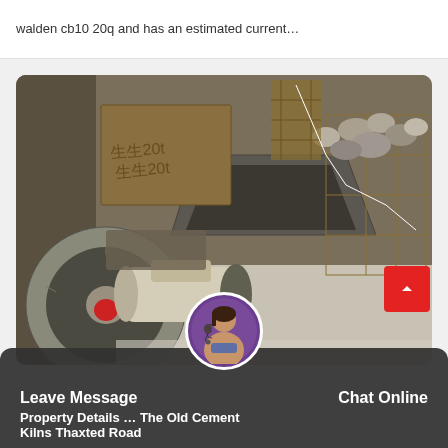walden cb10 20q and has an estimated current…
[Figure (photo): Industrial machinery photo showing a cement or stone crushing mill setup with a large flywheel/pulley in the foreground, metal hoppers and frames, and rocks/aggregate in the background. A white annotated line traces across the image.]
Leave Message
Chat Online
Property Details … The Old Cement Kilns Thaxted Road